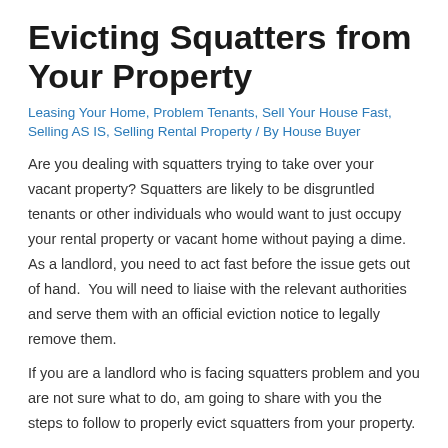Evicting Squatters from Your Property
Leasing Your Home, Problem Tenants, Sell Your House Fast, Selling AS IS, Selling Rental Property / By House Buyer
Are you dealing with squatters trying to take over your vacant property? Squatters are likely to be disgruntled tenants or other individuals who would want to just occupy your rental property or vacant home without paying a dime. As a landlord, you need to act fast before the issue gets out of hand.  You will need to liaise with the relevant authorities and serve them with an official eviction notice to legally remove them.
If you are a landlord who is facing squatters problem and you are not sure what to do, am going to share with you the steps to follow to properly evict squatters from your property.
Who Is A Squatter?